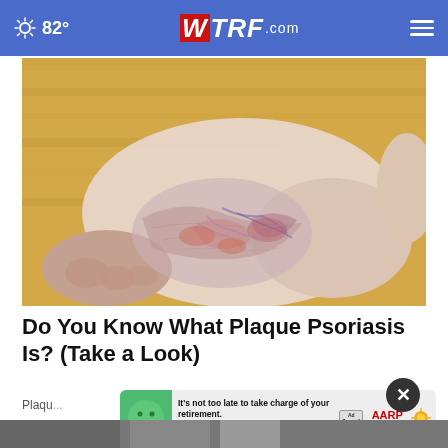82° WTRF.com
[Figure (photo): Close-up of a human foot and ankle showing psoriasis skin condition with red, scaly, inflamed patches on a wooden floor background]
Do You Know What Plaque Psoriasis Is? (Take a Look)
Plaqu...
[Figure (infographic): AARP advertisement banner: It's not too late to take charge of your retirement. Get your top 3 tips. Ad Council. AARP Real Possibilities.]
[Figure (photo): Partial view of another article image at the bottom of the page]